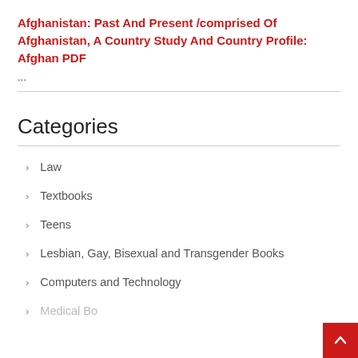Afghanistan: Past And Present /comprised Of Afghanistan, A Country Study And Country Profile: Afghan PDF
...
Categories
Law
Textbooks
Teens
Lesbian, Gay, Bisexual and Transgender Books
Computers and Technology
Medical Books